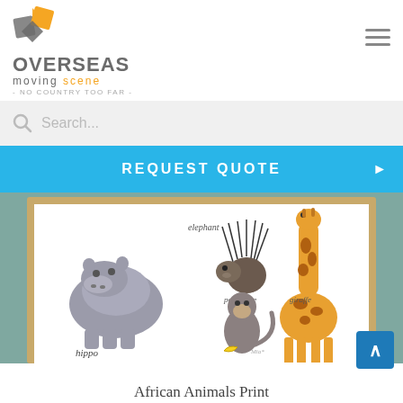[Figure (logo): Overseas Moving Scene logo with orange and grey diamond/arrow icon, text OVERSEAS in grey, moving scene in grey/orange, tagline NO COUNTRY TOO FAR]
[Figure (screenshot): Search bar with magnifying glass icon and placeholder text Search...]
REQUEST QUOTE
[Figure (photo): African Animals Print artwork in a wooden frame on teal background, showing illustrated animals: hippo, giraffe, porcupine, monkey with banana, with handwritten labels]
African Animals Print